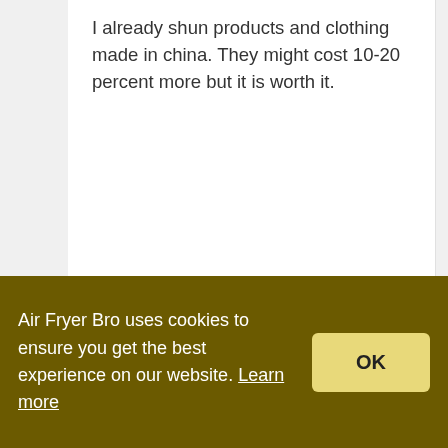I already shun products and clothing made in china. They might cost 10-20 percent more but it is worth it.
Reply
AirfryerBro
December 20, 2020 at 12:11 pm
Air Fryer Bro uses cookies to ensure you get the best experience on our website. Learn more